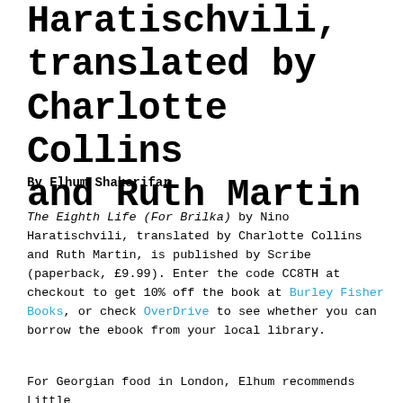Haratischvili, translated by Charlotte Collins and Ruth Martin
By Elhum Shakerifar
The Eighth Life (For Brilka) by Nino Haratischvili, translated by Charlotte Collins and Ruth Martin, is published by Scribe (paperback, £9.99). Enter the code CC8TH at checkout to get 10% off the book at Burley Fisher Books, or check OverDrive to see whether you can borrow the ebook from your local library.
For Georgian food in London, Elhum recommends Little